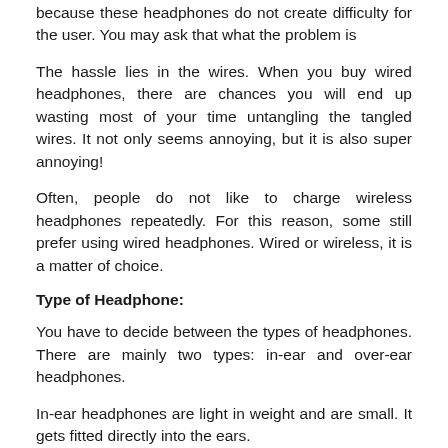because these headphones do not create difficulty for the user. You may ask that what the problem is
The hassle lies in the wires. When you buy wired headphones, there are chances you will end up wasting most of your time untangling the tangled wires. It not only seems annoying, but it is also super annoying!
Often, people do not like to charge wireless headphones repeatedly. For this reason, some still prefer using wired headphones. Wired or wireless, it is a matter of choice.
Type of Headphone:
You have to decide between the types of headphones. There are mainly two types: in-ear and over-ear headphones.
In-ear headphones are light in weight and are small. It gets fitted directly into the ears.
The over-ear headphones are comparatively heavier and